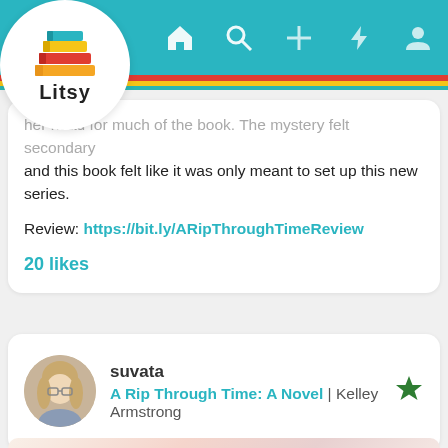[Figure (screenshot): Litsy app logo with stacked colorful books icon and 'Litsy' text]
Litsy app navigation bar with home, search, add, activity, and profile icons
her head for much of the book. The mystery felt secondary and this book felt like it was only meant to set up this new series.
Review: https://bit.ly/ARipThroughTimeReview
20 likes
suvata
A Rip Through Time: A Novel | Kelley Armstrong